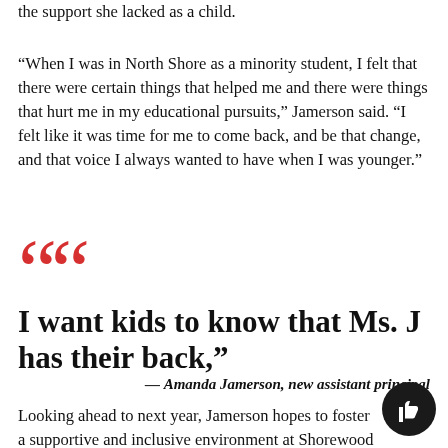the support she lacked as a child.
“When I was in North Shore as a minority student, I felt that there were certain things that helped me and there were things that hurt me in my educational pursuits,” Jamerson said. “I felt like it was time for me to come back, and be that change, and that voice I always wanted to have when I was younger.”
“I want kids to know that Ms. J has their back,”
— Amanda Jamerson, new assistant principal
Looking ahead to next year, Jamerson hopes to foster a supportive and inclusive environment at Shorewood